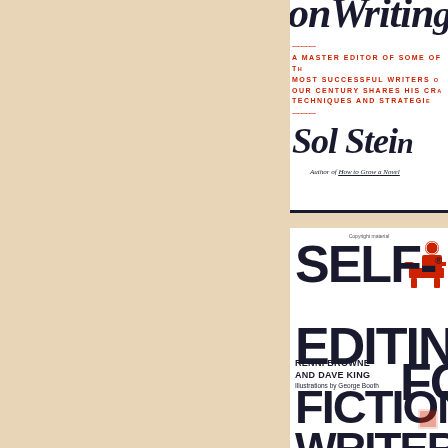[Figure (photo): Partial view of book cover 'On Writing' by Sol Stein. Shows partial title in large italic serif font, subtitle lines in red uppercase text reading 'A MASTER EDITOR OF SOME OF THE MOST SUCCESSFUL WRITERS OF OUR CENTURY SHARES HIS CRAFT TECHNIQUES AND STRATEGIES', author name 'Sol Stein' in large italic serif font, and 'Author of How to Grow a Novel' in smaller italic text.]
[Figure (photo): Partial view of book cover 'Self-Editing for Fiction Writers' by Renni Browne and Dave King, Illustrations by George Booth. Shows title in large bold sans-serif font in dark navy, with a red illustration of a person at a typewriter in the upper right corner.]